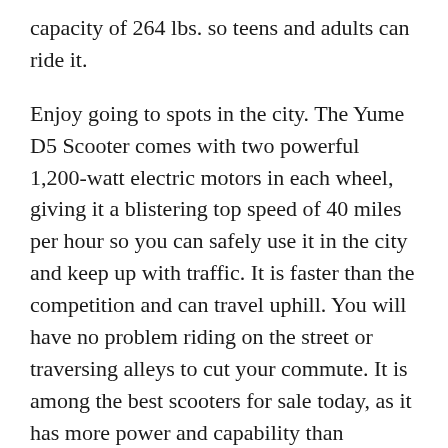capacity of 264 lbs. so teens and adults can ride it.
Enjoy going to spots in the city. The Yume D5 Scooter comes with two powerful 1,200-watt electric motors in each wheel, giving it a blistering top speed of 40 miles per hour so you can safely use it in the city and keep up with traffic. It is faster than the competition and can travel uphill. You will have no problem riding on the street or traversing alleys to cut your commute. It is among the best scooters for sale today, as it has more power and capability than similarly-priced models. The Yume D5 Electric Scooter is available in a beautiful black color scheme.
If you want a city scooter that already has top-